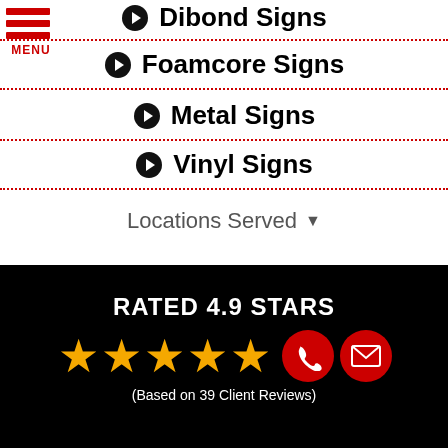Dibond Signs
Foamcore Signs
Metal Signs
Vinyl Signs
Locations Served
RATED 4.9 STARS
(Based on 39 Client Reviews)